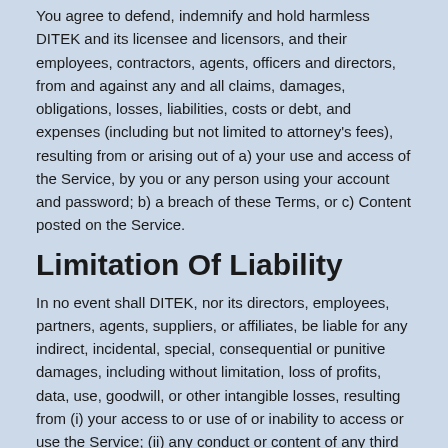You agree to defend, indemnify and hold harmless DITEK and its licensee and licensors, and their employees, contractors, agents, officers and directors, from and against any and all claims, damages, obligations, losses, liabilities, costs or debt, and expenses (including but not limited to attorney's fees), resulting from or arising out of a) your use and access of the Service, by you or any person using your account and password; b) a breach of these Terms, or c) Content posted on the Service.
Limitation Of Liability
In no event shall DITEK, nor its directors, employees, partners, agents, suppliers, or affiliates, be liable for any indirect, incidental, special, consequential or punitive damages, including without limitation, loss of profits, data, use, goodwill, or other intangible losses, resulting from (i) your access to or use of or inability to access or use the Service; (ii) any conduct or content of any third party on the Service; (iii) any content obtained from the Service; and (iv) unauthorized access, use or alteration of your transmissions or content, whether based on warranty, contract, tort (including negligence) or any other legal theory, whether or not we have been informed of the possibility of such damage, and even if a remedy set forth herein is found to have failed of its essential purpose.
Disclaimer